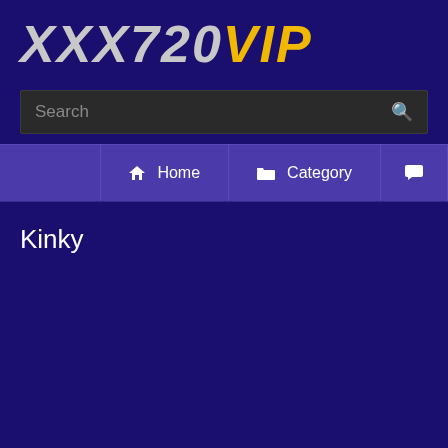XXX720VIP
Search
Home | Category | (comments icon)
Kinky